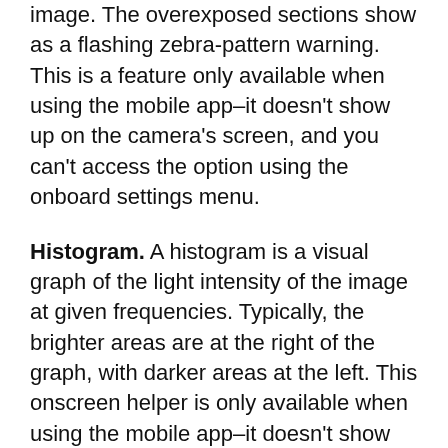out as washed-out highlights in the resulting image. The overexposed sections show as a flashing zebra-pattern warning. This is a feature only available when using the mobile app–it doesn't show up on the camera's screen, and you can't access the option using the onboard settings menu.
Histogram. A histogram is a visual graph of the light intensity of the image at given frequencies. Typically, the brighter areas are at the right of the graph, with darker areas at the left. This onscreen helper is only available when using the mobile app–it doesn't show up on the camera's screen, and you can't access the option using the onboard settings menu.